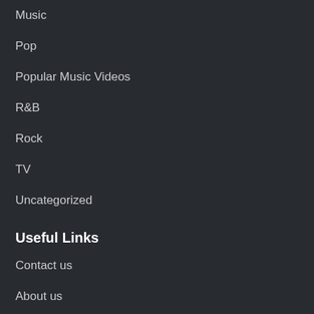Music
Pop
Popular Music Videos
R&B
Rock
TV
Uncategorized
Useful Links
Contact us
About us
Amazon Disclaimer
DMCA / Copyrights Disclaimer